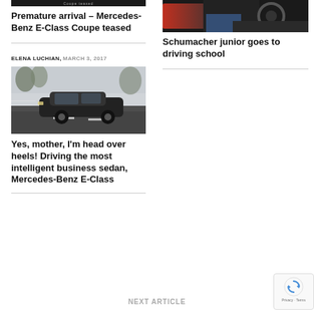[Figure (photo): Partial dark strip — teaser image for Mercedes-Benz E-Class Coupe article (top cropped)]
Premature arrival – Mercedes-Benz E-Class Coupe teased
[Figure (photo): Car interior photo showing red and dark seats — Schumacher article]
Schumacher junior goes to driving school
ELENA LUCHIAN, MARCH 3, 2017
[Figure (photo): Dark Mercedes-Benz E-Class sedan driving on a snowy road]
Yes, mother, I'm head over heels! Driving the most intelligent business sedan, Mercedes-Benz E-Class
NEXT ARTICLE